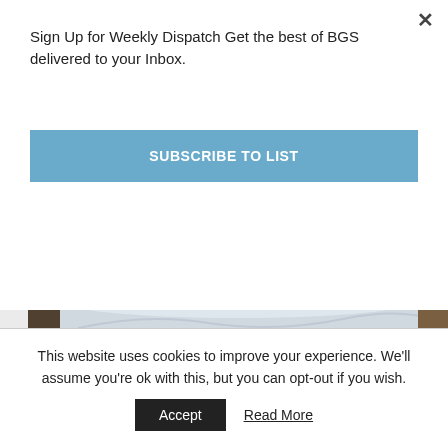Sign Up for Weekly Dispatch Get the best of BGS delivered to your Inbox.
SUBSCRIBE TO LIST
[Figure (photo): A bed with white sheets in a dimly lit room at Casa Betita]
A room at Casa Betita
This website uses cookies to improve your experience. We'll assume you're ok with this, but you can opt-out if you wish.
Accept
Read More